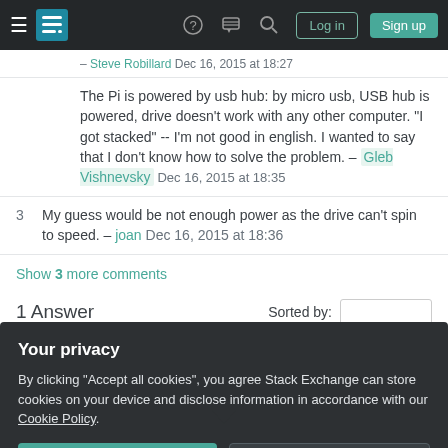Stack Exchange navigation bar with hamburger menu, logo, help, chat, search icons, Log in and Sign up buttons
– Steve Robillard Dec 16, 2015 at 18:27
The Pi is powered by usb hub: by micro usb, USB hub is powered, drive doesn't work with any other computer. "I got stacked" -- I'm not good in english. I wanted to say that I don't know how to solve the problem. – Gleb Vishnevsky Dec 16, 2015 at 18:35
3 My guess would be not enough power as the drive can't spin to speed. – joan Dec 16, 2015 at 18:36
Show 3 more comments
1 Answer Sorted by:
Your privacy
By clicking "Accept all cookies", you agree Stack Exchange can store cookies on your device and disclose information in accordance with our Cookie Policy.
Accept all cookies Customize settings
task, it makes sense that it would be the point at